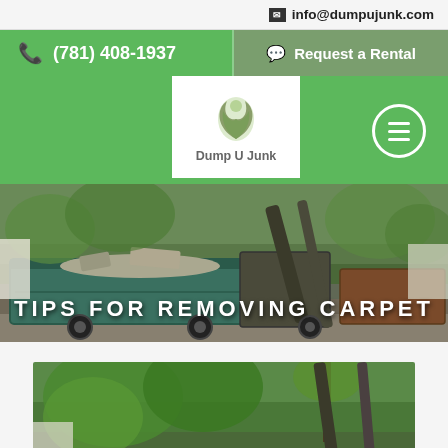info@dumpujunk.com
(781) 408-1937
Request a Rental
[Figure (logo): Dump U Junk logo with green leaf icon]
TIPS FOR REMOVING CARPET
[Figure (photo): Dumpster truck and containers outdoors with trees in background]